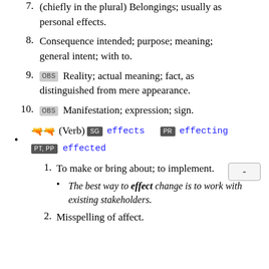7. (chiefly in the plural) Belongings; usually as personal effects.
8. Consequence intended; purpose; meaning; general intent; with to.
9. OBS Reality; actual meaning; fact, as distinguished from mere appearance.
10. OBS Manifestation; expression; sign.
🜲🜲 (Verb) SG effects PR effecting PT, PP effected
1. To make or bring about; to implement.
The best way to effect change is to work with existing stakeholders.
2. Misspelling of affect.